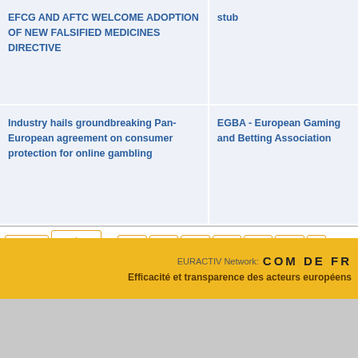EFCG AND AFTC WELCOME ADOPTION OF NEW FALSIFIED MEDICINES DIRECTIVE
stub
Industry hails groundbreaking Pan-European agreement on consumer protection for online gambling
EGBA - European Gaming and Betting Association
Small Business Act review: full implementation and new Commission proposals are crucial for SMEs and growth. Bendt Bendtsen MEP and Othmar Karas MEP
EPP Group in the European Parliament
« FIRST
‹ PREVIOUS
...
360
361
362
363
364
365
3
EURACTIV Network: COM DE FR
Efficacité et transparence des acteurs européens